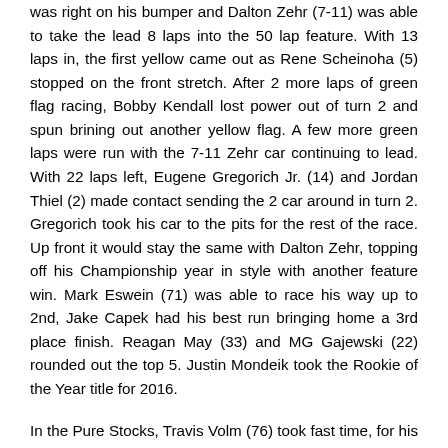was right on his bumper and Dalton Zehr (7-11) was able to take the lead 8 laps into the 50 lap feature. With 13 laps in, the first yellow came out as Rene Scheinoha (5) stopped on the front stretch. After 2 more laps of green flag racing, Bobby Kendall lost power out of turn 2 and spun brining out another yellow flag. A few more green laps were run with the 7-11 Zehr car continuing to lead. With 22 laps left, Eugene Gregorich Jr. (14) and Jordan Thiel (2) made contact sending the 2 car around in turn 2. Gregorich took his car to the pits for the rest of the race. Up front it would stay the same with Dalton Zehr, topping off his Championship year in style with another feature win. Mark Eswein (71) was able to race his way up to 2nd, Jake Capek had his best run bringing home a 3rd place finish. Reagan May (33) and MG Gajewski (22) rounded out the top 5. Justin Mondeik took the Rookie of the Year title for 2016.
In the Pure Stocks, Travis Volm (76) took fast time, for his first time in 4 years at GSS. Two heats would see Nick Grish (83) and Louie Merriam (17) with victories. In the feature, Travis Volm came into the race with a large point lead, so he just needed to